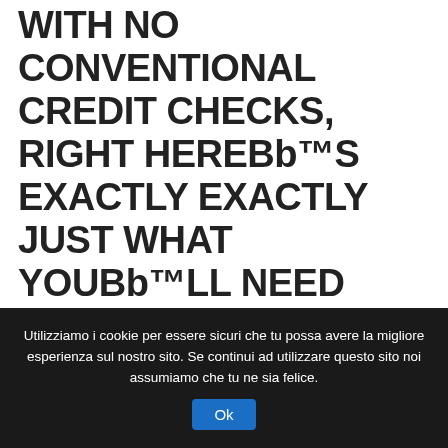WITH NO CONVENTIONAL CREDIT CHECKS, RIGHT HEREBb™S EXACTLY EXACTLY JUST WHAT YOUBb™LL NEED CERTAINLY TO DO. FIRST, VISIT MYPAYDAYLOAN.COM, AND START FILLING
Utilizziamo i cookie per essere sicuri che tu possa avere la migliore esperienza sul nostro sito. Se continui ad utilizzare questo sito noi assumiamo che tu ne sia felice. Ok